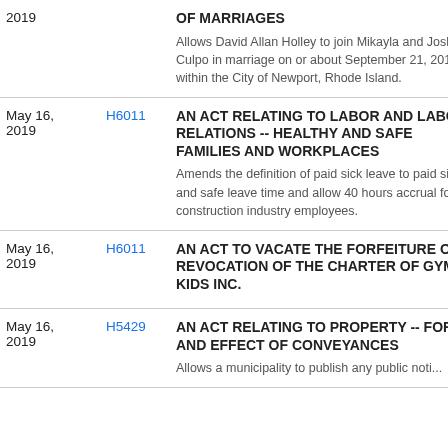| Date | Bill | Title/Description |
| --- | --- | --- |
| 2019 |  | OF MARRIAGES
Allows David Allan Holley to join Mikayla and Joshua Culpo in marriage on or about September 21, 2019, within the City of Newport, Rhode Island. |
| May 16, 2019 | H6011 | AN ACT RELATING TO LABOR AND LABOR RELATIONS -- HEALTHY AND SAFE FAMILIES AND WORKPLACES
Amends the definition of paid sick leave to paid sick and safe leave time and allow 40 hours accrual for construction industry employees. |
| May 16, 2019 | H6011 | AN ACT TO VACATE THE FORFEITURE OR REVOCATION OF THE CHARTER OF GYM KIDS INC. |
| May 16, 2019 | H5429 | AN ACT RELATING TO PROPERTY -- FORM AND EFFECT OF CONVEYANCES
Allows a municipality to publish any public notice... |